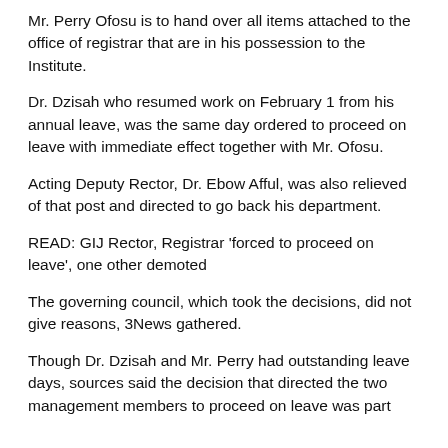Mr. Perry Ofosu is to hand over all items attached to the office of registrar that are in his possession to the Institute.
Dr. Dzisah who resumed work on February 1 from his annual leave, was the same day ordered to proceed on leave with immediate effect together with Mr. Ofosu.
Acting Deputy Rector, Dr. Ebow Afful, was also relieved of that post and directed to go back his department.
READ: GIJ Rector, Registrar 'forced to proceed on leave', one other demoted
The governing council, which took the decisions, did not give reasons, 3News gathered.
Though Dr. Dzisah and Mr. Perry had outstanding leave days, sources said the decision that directed the two management members to proceed on leave was part